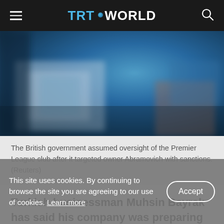TRT WORLD
[Figure (photo): Blurred blue-toned image of what appears to be a building or stadium, used as a hero image for the article about Chelsea FC]
The British government assumed oversight of the Premier League club after it targeted owner Abramovich with sanctions. (Reuters)
Turkish businessman Muhsin Bayrak has said his company was preparing to submit a bid by Friday
This site uses cookies. By continuing to browse the site you are agreeing to our use of cookies. Learn more